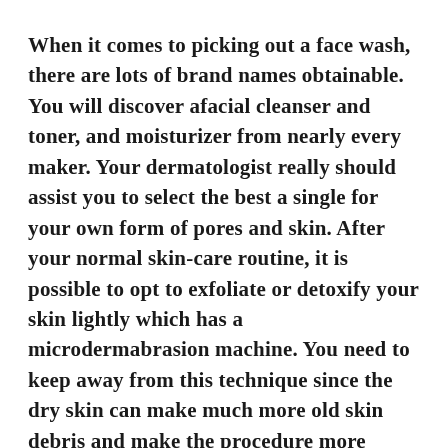When it comes to picking out a face wash, there are lots of brand names obtainable. You will discover afacial cleanser and toner, and moisturizer from nearly every maker. Your dermatologist really should assist you to select the best a single for your own form of pores and skin. After your normal skin-care routine, it is possible to opt to exfoliate or detoxify your skin lightly which has a microdermabrasion machine. You need to keep away from this technique since the dry skin can make much more old skin debris and make the procedure more complicated.
If you have any concerns relating to where and